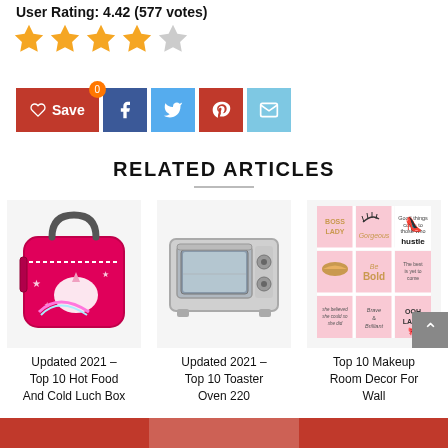User Rating: 4.42 (577 votes)
[Figure (illustration): Four gold filled stars and one empty star representing a 4.42 out of 5 star rating]
[Figure (illustration): Row of social share buttons: Save (red with heart icon), Facebook (blue), Twitter (light blue), Pinterest (red), Email (light blue)]
RELATED ARTICLES
[Figure (photo): Pink unicorn-themed lunch bag/box for kids]
Updated 2021 – Top 10 Hot Food And Cold Luch Box
[Figure (photo): Silver/stainless toaster oven]
Updated 2021 – Top 10 Toaster Oven 220
[Figure (photo): Grid of 9 pink and gold motivational wall art prints (Boss Lady, Gorgeous, hustle, lip, Be Bold, Best is yet to come, she believed she could so she did, Brave & Brilliant, OOH LA LA)]
Top 10 Makeup Room Decor For Wall